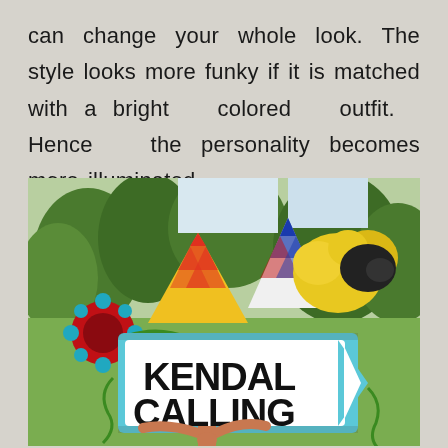can change your whole look. The style looks more funky if it is matched with a bright colored outfit. Hence the personality becomes more illuminated.
[Figure (photo): A colorful festival scene showing the Kendal Calling sign — a large arrow-shaped road sign with 'KENDAL CALLING' in bold black letters on white background with a light blue border, decorated with flowers and greenery. Behind it are striped circus-style tents in red/yellow and blue/white/red, a decorative sunflower wheel on the left, and a large bunch of yellow flowers on the right. Trees are visible in the background. A person is standing beneath the sign with arms raised.]